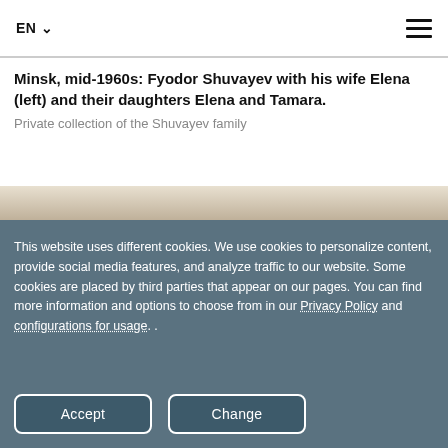EN ☰
[Figure (photo): Top portion of a family photograph from mid-1960s Minsk, partially visible at top of page showing light background]
Minsk, mid-1960s: Fyodor Shuvayev with his wife Elena (left) and their daughters Elena and Tamara.
Private collection of the Shuvayev family
[Figure (photo): Bottom portion of a photograph showing the top of a person's head with dark hair]
This website uses different cookies. We use cookies to personalize content, provide social media features, and analyze traffic to our website. Some cookies are placed by third parties that appear on our pages. You can find more information and options to choose from in our Privacy Policy and configurations for usage. .
Accept
Change